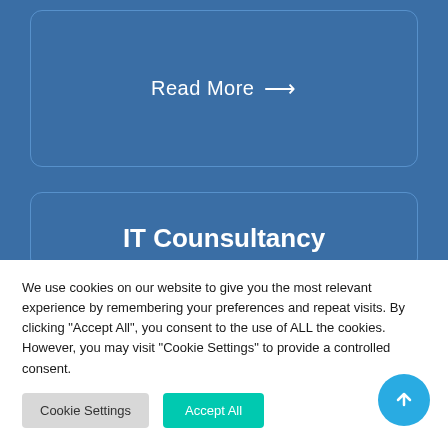Read More →
IT Counsultancy
[Figure (illustration): White circle with a blue headset/communication icon]
We use cookies on our website to give you the most relevant experience by remembering your preferences and repeat visits. By clicking "Accept All", you consent to the use of ALL the cookies. However, you may visit "Cookie Settings" to provide a controlled consent.
Cookie Settings
Accept All